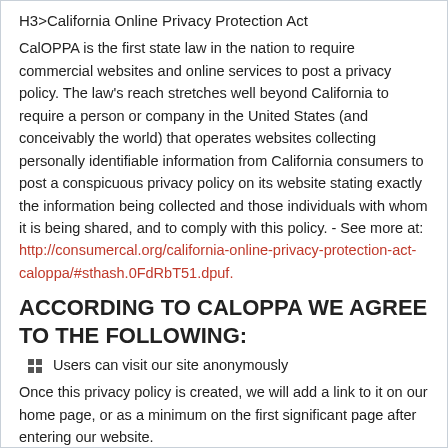H3>California Online Privacy Protection Act
CalOPPA is the first state law in the nation to require commercial websites and online services to post a privacy policy. The law's reach stretches well beyond California to require a person or company in the United States (and conceivably the world) that operates websites collecting personally identifiable information from California consumers to post a conspicuous privacy policy on its website stating exactly the information being collected and those individuals with whom it is being shared, and to comply with this policy. - See more at: http://consumercal.org/california-online-privacy-protection-act-caloppa/#sthash.0FdRbT51.dpuf.
ACCORDING TO CALOPPA WE AGREE TO THE FOLLOWING:
Users can visit our site anonymously
Once this privacy policy is created, we will add a link to it on our home page, or as a minimum on the first significant page after entering our website.
Our Privacy Policy link includes the word 'Privacy', and can be easily be